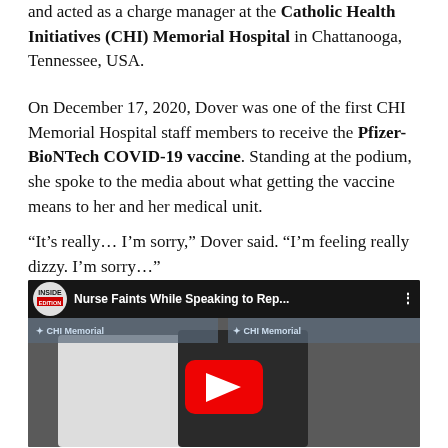and acted as a charge manager at the Catholic Health Initiatives (CHI) Memorial Hospital in Chattanooga, Tennessee, USA.
On December 17, 2020, Dover was one of the first CHI Memorial Hospital staff members to receive the Pfizer-BioNTech COVID-19 vaccine. Standing at the podium, she spoke to the media about what getting the vaccine means to her and her medical unit.
“It’s really… I’m sorry,” Dover said. “I’m feeling really dizzy. I’m sorry…”
[Figure (screenshot): YouTube video thumbnail from Inside Edition showing two people in masks at a CHI Memorial Hospital podium, with title 'Nurse Faints While Speaking to Rep...' and a red play button overlay.]